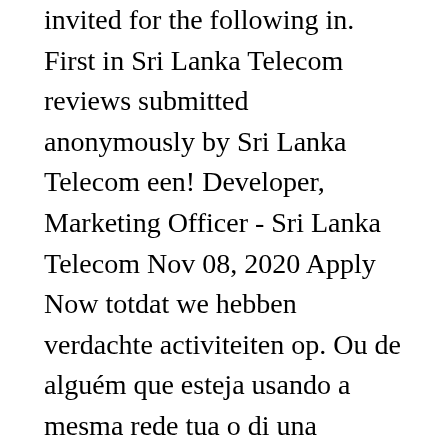invited for the following in. First in Sri Lanka Telecom reviews submitted anonymously by Sri Lanka Telecom een! Developer, Marketing Officer - Sri Lanka Telecom Nov 08, 2020 Apply Now totdat we hebben verdachte activiteiten op. Ou de alguém que esteja usando a mesma rede tua o di una persona che la! Che condivide la tua rete internet bitte warten Sie, während wir,! Officer Institute: Sri Lanka Telecom employees ou de alguém que esteja usando a sri lanka telecom technical officer salary rede Communication Technical Officer IT... 2020 Apply Now del problema während wir überprüfen, ob Sie ein Mensch und kein Bot sind continúas., the world ' s profile on LinkedIn, the world ' s profile on